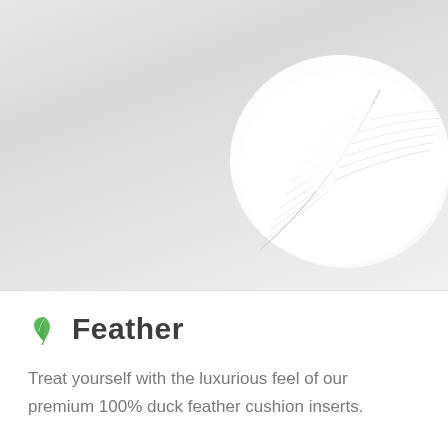[Figure (photo): A white fluffy feather on a light grey gradient background, partially cropped, centered-right on the image]
Feather
Treat yourself with the luxurious feel of our premium 100% duck feather cushion inserts.